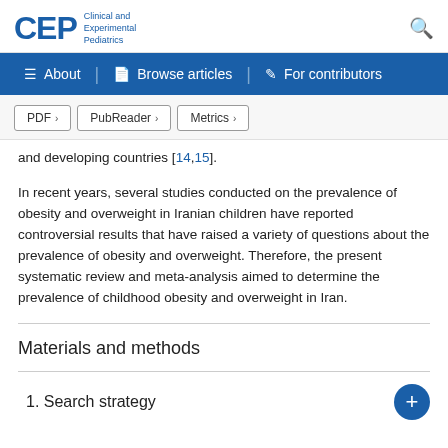CEP Clinical and Experimental Pediatrics
and developing countries [14,15].
In recent years, several studies conducted on the prevalence of obesity and overweight in Iranian children have reported controversial results that have raised a variety of questions about the prevalence of obesity and overweight. Therefore, the present systematic review and meta-analysis aimed to determine the prevalence of childhood obesity and overweight in Iran.
Materials and methods
1. Search strategy